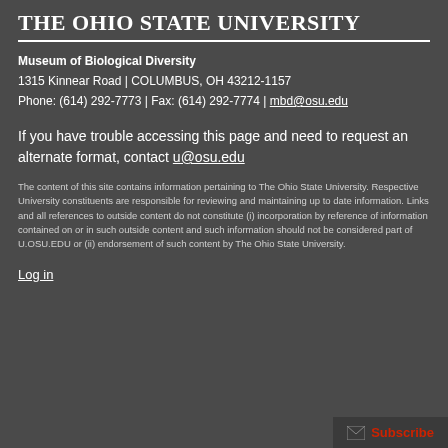The Ohio State University
Museum of Biological Diversity
1315 Kinnear Road | COLUMBUS, OH 43212-1157
Phone: (614) 292-7773 | Fax: (614) 292-7774 | mbd@osu.edu
If you have trouble accessing this page and need to request an alternate format, contact u@osu.edu
The content of this site contains information pertaining to The Ohio State University. Respective University constituents are responsible for reviewing and maintaining up to date information. Links and all references to outside content do not constitute (i) incorporation by reference of information contained on or in such outside content and such information should not be considered part of U.OSU.EDU or (ii) endorsement of such content by The Ohio State University.
Log in
[Figure (other): Subscribe button with envelope icon in bottom-right corner]